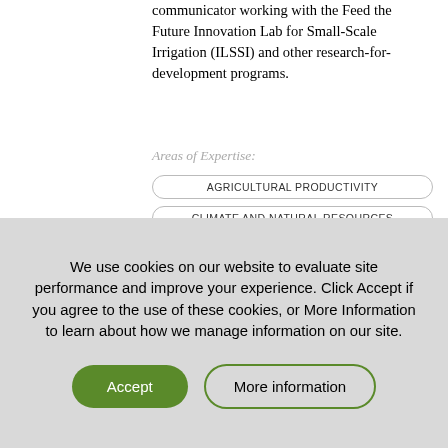communicator working with the Feed the Future Innovation Lab for Small-Scale Irrigation (ILSSI) and other research-for-development programs.
Areas of Expertise:
AGRICULTURAL PRODUCTIVITY
CLIMATE AND NATURAL RESOURCES
GENDER
NUTRITION
We use cookies on our website to evaluate site performance and improve your experience. Click Accept if you agree to the use of these cookies, or More Information to learn about how we manage information on our site.